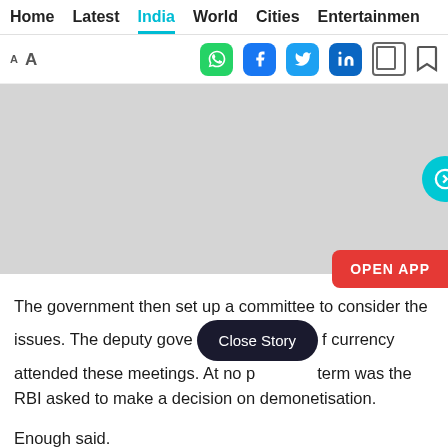Home  Latest  India  World  Cities  Entertainment
[Figure (screenshot): Toolbar with font size icons (AA), WhatsApp, Facebook, Twitter, LinkedIn, copy, and bookmark social sharing icons]
[Figure (photo): Gray image placeholder with cyan next-button arrow on the right and an OPEN APP red button at bottom right]
The government then set up a committee to consider the issues. The deputy governor in charge of currency attended these meetings. At no point in his term was the RBI asked to make a decision on demonetisation.
Enough said.